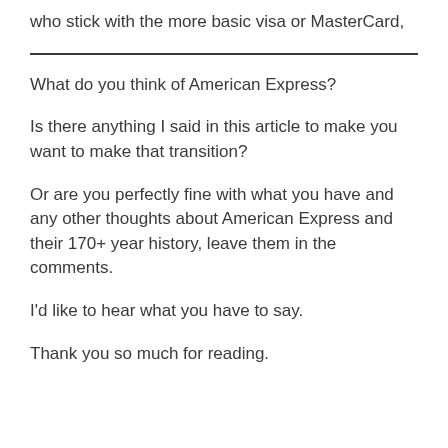who stick with the more basic visa or MasterCard,
What do you think of American Express?
Is there anything I said in this article to make you want to make that transition?
Or are you perfectly fine with what you have and any other thoughts about American Express and their 170+ year history, leave them in the comments.
I’d like to hear what you have to say.
Thank you so much for reading.